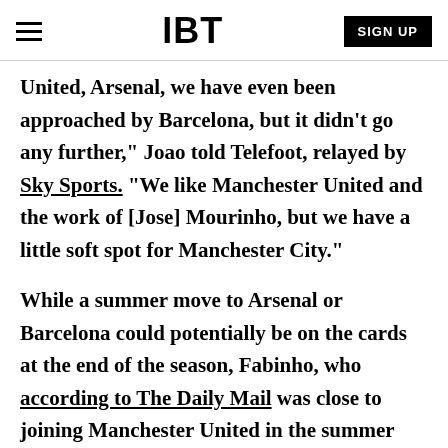IBT | SIGN UP
United, Arsenal, we have even been approached by Barcelona, but it didn't go any further," Joao told Telefoot, relayed by Sky Sports. "We like Manchester United and the work of [Jose] Mourinho, but we have a little soft spot for Manchester City."
While a summer move to Arsenal or Barcelona could potentially be on the cards at the end of the season, Fabinho, who according to The Daily Mail was close to joining Manchester United in the summer transfer window for £25m, is happy with